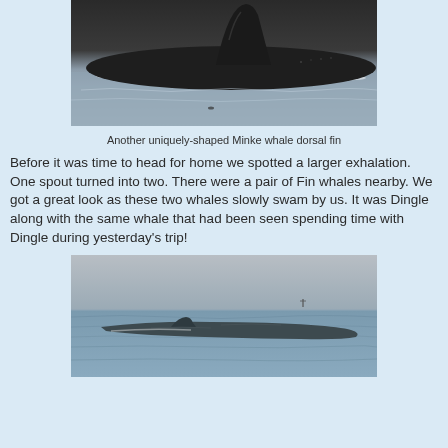[Figure (photo): Close-up photograph of a Minke whale dorsal fin above the water surface, dark body visible against grey-blue water with white foam/bubbles at waterline]
Another uniquely-shaped Minke whale dorsal fin
Before it was time to head for home we spotted a larger exhalation. One spout turned into two. There were a pair of Fin whales nearby. We got a great look as these two whales slowly swam by us. It was Dingle along with the same whale that had been seen spending time with Dingle during yesterday's trip!
[Figure (photo): Photograph of a Fin whale at the ocean surface, showing the long body and small dorsal fin, grey water with gentle ripples, taken from a boat]